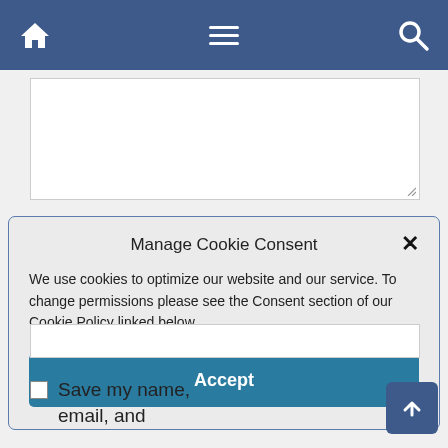[Figure (screenshot): Mobile website navigation bar with home icon, hamburger menu icon, and search icon on dark blue background]
[Figure (screenshot): White text area input box, partially visible at top of page]
Manage Cookie Consent
We use cookies to optimize our website and our service. To change permissions please see the Consent section of our Cookie Policy linked below.
Accept
[Figure (screenshot): White input field partially visible below cookie consent modal]
Save my name, email, and
[Figure (screenshot): Blue back-to-top arrow button in bottom right corner]